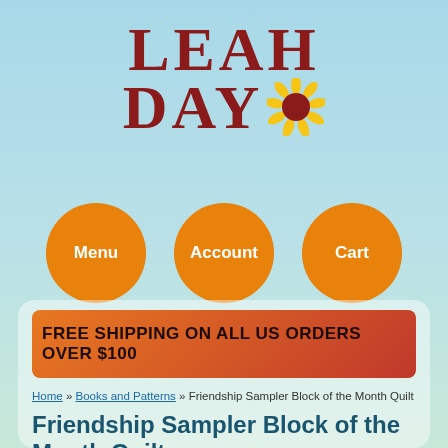[Figure (logo): Leah Day logo with sunflower graphic and orange navigation circles for Menu, Account, Cart]
[Figure (infographic): Orange to red banner reading FREE SHIPPING ON ALL US ORDERS OVER $100]
Home » Books and Patterns » Friendship Sampler Block of the Month Quilt
Friendship Sampler Block of the Month Quilt
[Figure (screenshot): Product image thumbnail showing quilt patterns on dark background with Leah Day watermark]